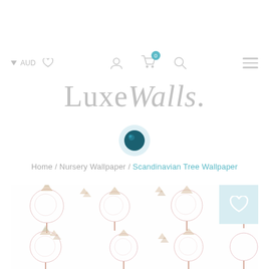AUD ♥ [user icon] [cart icon with 0] [search icon] [menu icon]
LuxeWalls.
[Figure (logo): Circular product/camera icon with teal ball and light blue ring]
Home / Nursery Wallpaper / Scandinavian Tree Wallpaper
[Figure (photo): Scandinavian Tree Wallpaper pattern showing soft pink illustrated trees with geometric triangles on white background, with a light blue wishlist heart button in the top right corner]